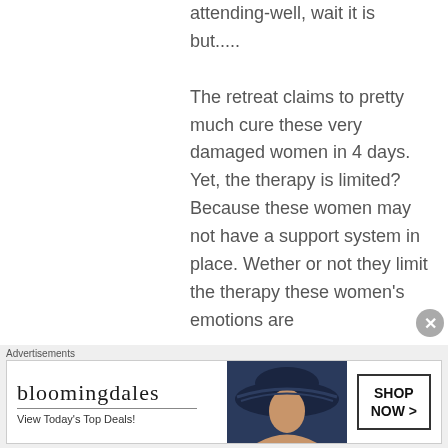attending-well, wait it is but.....
The retreat claims to pretty much cure these very damaged women in 4 days. Yet, the therapy is limited? Because these women may not have a support system in place. Wether or not they limit the therapy these women's emotions are
[Figure (other): Bloomingdale's advertisement banner showing logo, 'View Today's Top Deals!' tagline, woman with wide-brim hat, and 'SHOP NOW >' button]